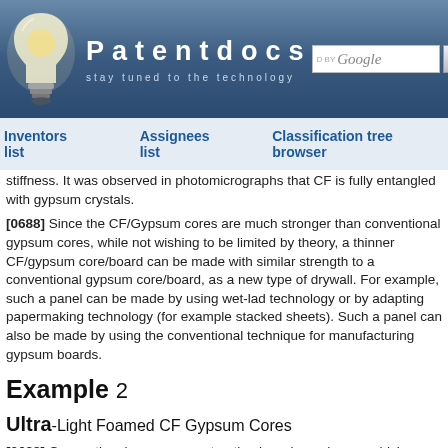Patentdocs — stay tuned to the technology
Inventors list | Assignees list | Classification tree browser
stiffness. It was observed in photomicrographs that CF is fully entangled with gypsum crystals.
[0688] Since the CF/Gypsum cores are much stronger than conventional gypsum cores, while not wishing to be limited by theory, a thinner CF/gypsum core/board can be made with similar strength to a conventional gypsum core/board, as a new type of drywall. For example, such a panel can be made by using wet-lad technology or by adapting papermaking technology (for example stacked sheets). Such a panel can also be made by using the conventional technique for manufacturing gypsum boards.
Example 2
Ultra-Light Foamed CF Gypsum Cores
[0689] Conventional gypsum construction boards are heavy, which may, for example, cause quick fatigue to installers and/or high transportation costs